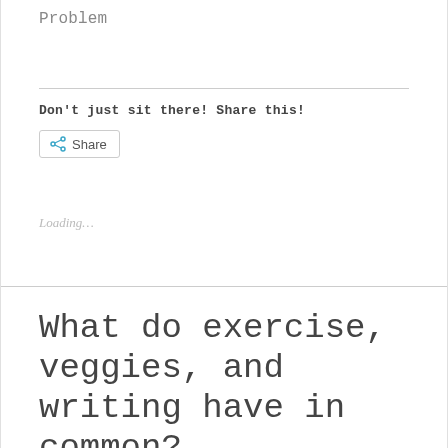Problem
Don't just sit there! Share this!
Share
Loading...
What do exercise, veggies, and writing have in common?